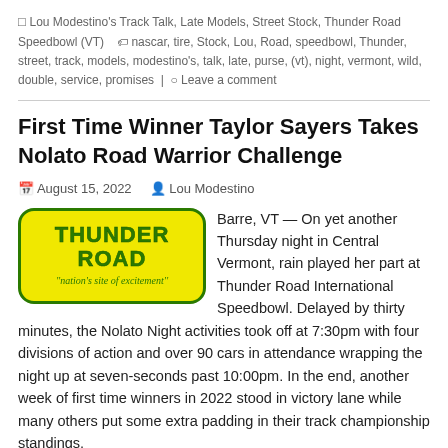□ Lou Modestino's Track Talk, Late Models, Street Stock, Thunder Road Speedbowl (VT)  🏷 nascar, tire, Stock, Lou, Road, speedbowl, Thunder, street, track, models, modestino's, talk, late, purse, (vt), night, vermont, wild, double, service, promises  ○ Leave a comment
First Time Winner Taylor Sayers Takes Nolato Road Warrior Challenge
August 15, 2022   Lou Modestino
[Figure (logo): Thunder Road 'nation's site of excitement' logo — yellow oval with green border and green bold text]
Barre, VT — On yet another Thursday night in Central Vermont, rain played her part at Thunder Road International Speedbowl. Delayed by thirty minutes, the Nolato Night activities took off at 7:30pm with four divisions of action and over 90 cars in attendance wrapping the night up at seven-seconds past 10:00pm. In the end, another week of first time winners in 2022 stood in victory lane while many others put some extra padding in their track championship standings.